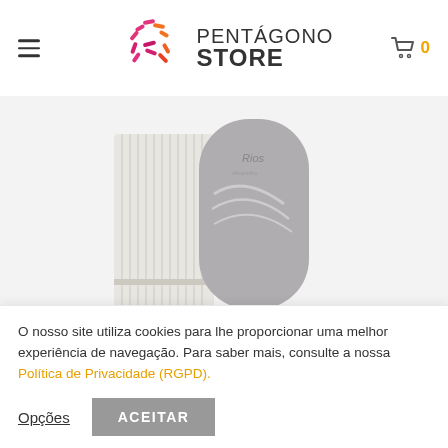PENTÁGONO STORE
[Figure (photo): Product photo showing two bottles/containers side by side: a white ribbed container on the left and a gray cylindrical bottle with swoosh design on the right, labeled Rios, on a light background]
Vinho Alvarinho DOC Magnum – caixa
O nosso site utiliza cookies para lhe proporcionar uma melhor experiência de navegação. Para saber mais, consulte a nossa Política de Privacidade (RGPD).
Opções  ACEITAR